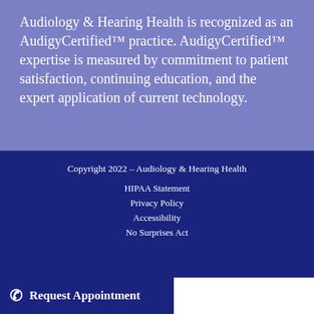Audiology & Hearing Health is recognized as an AudigyCertified™ practice. AudigyCertified™ expertise is measured by commitment to patient satisfaction, continuing education, and the expert application of current technology.
Copyright 2022 – Audiology & Hearing Health
HIPAA Statement
Privacy Policy
Accessibility
No Surprises Act
Request Appointment